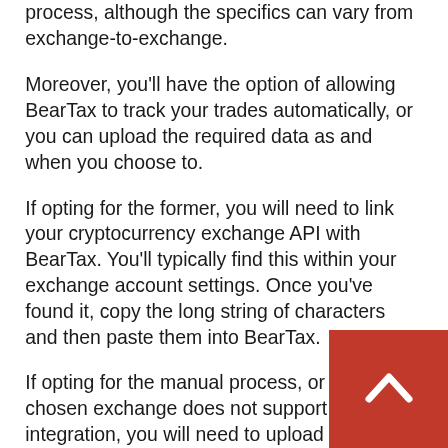process, although the specifics can vary from exchange-to-exchange.
Moreover, you'll have the option of allowing BearTax to track your trades automatically, or you can upload the required data as and when you choose to.
If opting for the former, you will need to link your cryptocurrency exchange API with BearTax. You'll typically find this within your exchange account settings. Once you've found it, copy the long string of characters and then paste them into BearTax.
If opting for the manual process, or your chosen exchange does not support API integration, you will need to upload a CSV document into BearTax. You'll get this by downloading it from your cryptocurrency